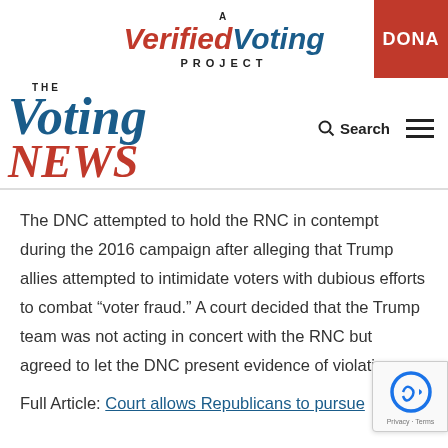A Verified Voting Project | DONATE
THE Voting NEWS | Search
The DNC attempted to hold the RNC in contempt during the 2016 campaign after alleging that Trump allies attempted to intimidate voters with dubious efforts to combat “voter fraud.” A court decided that the Trump team was not acting in concert with the RNC but agreed to let the DNC present evidence of violations.
Full Article: Court allows Republicans to pursue